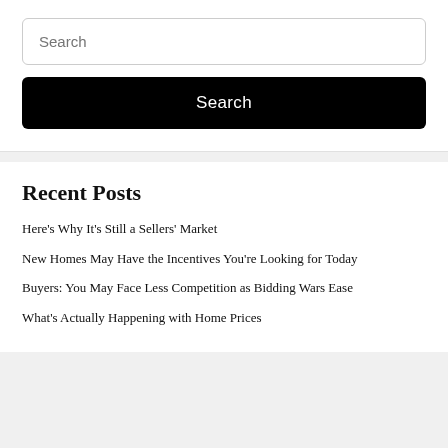[Figure (screenshot): Search input field with placeholder text 'Search']
[Figure (screenshot): Black Search button]
Recent Posts
Here's Why It's Still a Sellers' Market
New Homes May Have the Incentives You're Looking for Today
Buyers: You May Face Less Competition as Bidding Wars Ease
What's Actually Happening with Home Prices